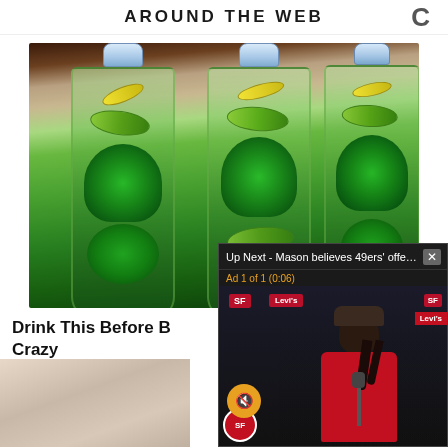AROUND THE WEB
[Figure (photo): Three clear plastic water bottles filled with green infused water containing cucumber slices, lemon slices, and mint leaves, placed on a kitchen counter]
Drink This Before Bed and Watch the Fat Melt Like Crazy
Health
[Figure (screenshot): Video overlay: 'Up Next - Mason believes 49ers' offens...' with a close button X. Ad 1 of 1 (0:06). Shows a man in a red 49ers shirt at a press conference podium with Levi's branding in background. A muted speaker icon shown in orange circle.]